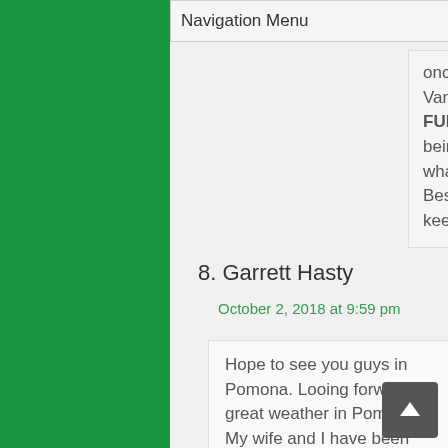Navigation Menu
once you hit the road. Vans are all about FUNCTION, and being a catalyst for what you want to DO. Best of luck and do keep us posted!
8. Garrett Hasty
October 2, 2018 at 9:59 pm
Hope to see you guys in Pomona. Looing forward to great weather in Pomona. My wife and I have been their when it has been three billion degrees outside. Maybe James can crawl under the RVs on his back